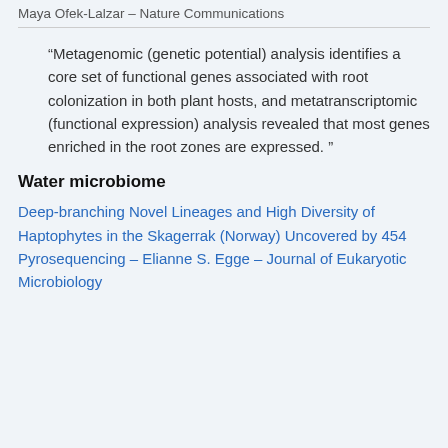Maya Ofek-Lalzar – Nature Communications
“Metagenomic (genetic potential) analysis identifies a core set of functional genes associated with root colonization in both plant hosts, and metatranscriptomic (functional expression) analysis revealed that most genes enriched in the root zones are expressed.”
Water microbiome
Deep-branching Novel Lineages and High Diversity of Haptophytes in the Skagerrak (Norway) Uncovered by 454 Pyrosequencing – Elianne S. Egge – Journal of Eukaryotic Microbiology